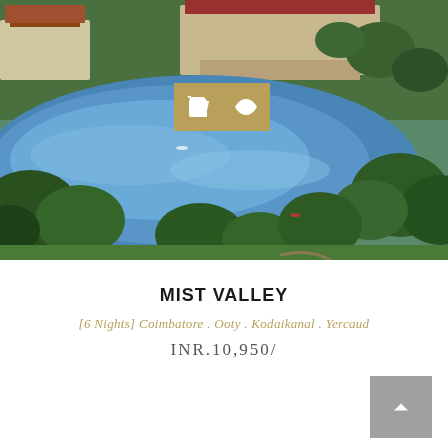[Figure (photo): Aerial view of a hill station lake surrounded by trees and resort buildings with red roofs, resembling Kodaikanal or Ooty lake area in Tamil Nadu, India. Two golden icon buttons (shopping cart and eye/view) are overlaid on the image.]
MIST VALLEY
[6 Nights] Coimbatore . Ooty . Kodaikanal . Yercaud
INR.10,950/